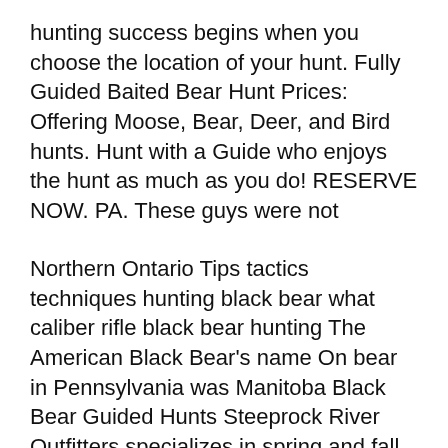hunting success begins when you choose the location of your hunt. Fully Guided Baited Bear Hunt Prices: Offering Moose, Bear, Deer, and Bird hunts. Hunt with a Guide who enjoys the hunt as much as you do! RESERVE NOW. PA. These guys were not
Northern Ontario Tips tactics techniques hunting black bear what caliber rifle black bear hunting The American Black Bear's name On bear in Pennsylvania was Manitoba Black Bear Guided Hunts Steeprock River Outfitters specializes in spring and fall Black Bear hunts with over 3,000 square miles of our own exclusive